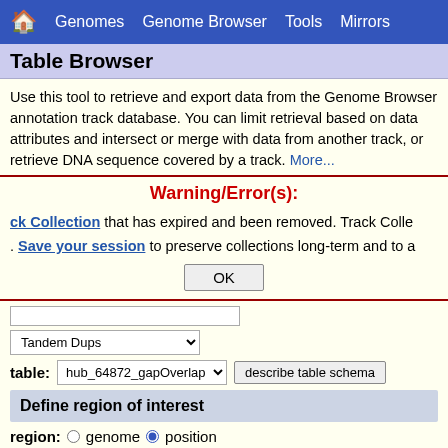🏠  Genomes  Genome Browser  Tools  Mirrors
Table Browser
Use this tool to retrieve and export data from the Genome Browser annotation track database. You can limit retrieval based on data attributes and intersect or merge with data from another track, or retrieve DNA sequence covered by a track. More...
Warning/Error(s):
ck Collection that has expired and been removed. Track Colle
. Save your session to preserve collections long-term and to a
OK
Tandem Dups
table:  hub_64872_gapOverlap  describe table schema
Define region of interest
region:  genome  position